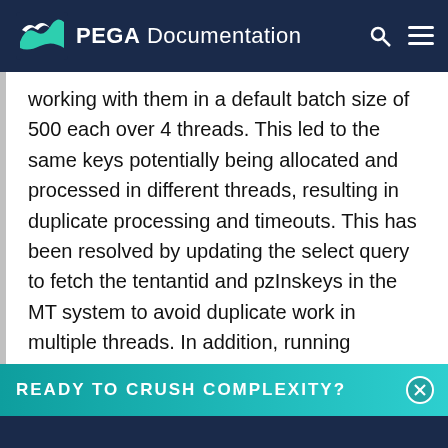PEGA Documentation
working with them in a default batch size of 500 each over 4 threads. This led to the same keys potentially being allocated and processed in different threads, resulting in duplicate processing and timeouts. This has been resolved by updating the select query to fetch the tentantid and pzInskeys in the MT system to avoid duplicate work in multiple threads. In addition, running Generate Declarative indexes fetches the...
READY TO CRUSH COMPLEXITY?
By using this site, you agree to the use of cookies.
Read our Privacy Policy
Accept and continue  About cookies